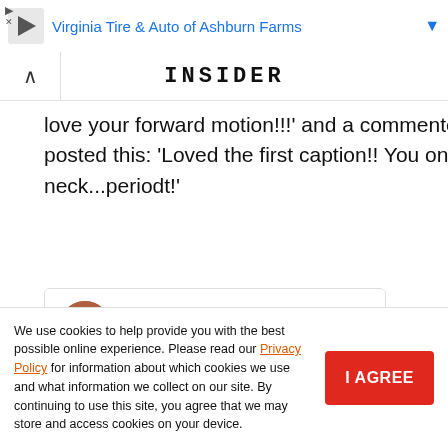[Figure (screenshot): Ad banner: Virginia Tire & Auto of Ashburn Farms logo and text]
[Figure (screenshot): Navigation bar with back arrow chevron and INSIDER logo in bold monospace]
love your forward motion!!!' and a commenter posted this: 'Loved the first caption!! You on they neck...periodt!'
[Figure (screenshot): Instagram profile card for porsha4real with 7.1M followers and View profile button]
We use cookies to help provide you with the best possible online experience. Please read our Privacy Policy for information about which cookies we use and what information we collect on our site. By continuing to use this site, you agree that we may store and access cookies on your device.